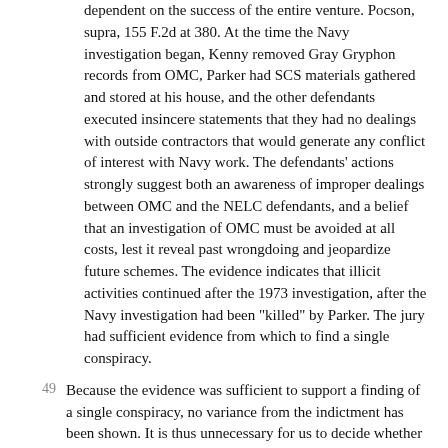dependent on the success of the entire venture. Pocson, supra, 155 F.2d at 380. At the time the Navy investigation began, Kenny removed Gray Gryphon records from OMC, Parker had SCS materials gathered and stored at his house, and the other defendants executed insincere statements that they had no dealings with outside contractors that would generate any conflict of interest with Navy work. The defendants' actions strongly suggest both an awareness of improper dealings between OMC and the NELC defendants, and a belief that an investigation of OMC must be avoided at all costs, lest it reveal past wrongdoing and jeopardize future schemes. The evidence indicates that illicit activities continued after the 1973 investigation, after the Navy investigation had been "killed" by Parker. The jury had sufficient evidence from which to find a single conspiracy.
Because the evidence was sufficient to support a finding of a single conspiracy, no variance from the indictment has been shown. It is thus unnecessary for us to decide whether any such variance would have been prejudicial.
C. Admission of Evidence.
Following the government's case-in-chief, each defendant moved to